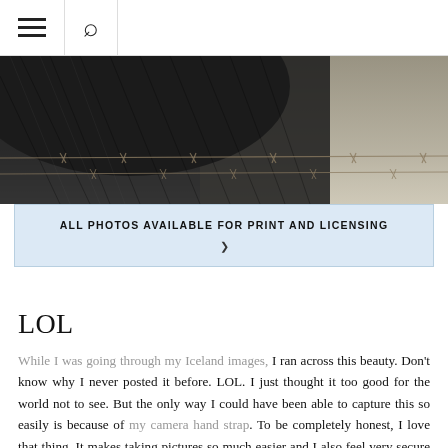≡  🔍
[Figure (photo): Close-up photo of a dark horse face/muzzle near a barbed wire fence, with a sandy/light stone wall in the background. The image is cropped to show mainly the bottom of the horse's face and chest area above the barbed wire.]
ALL PHOTOS AVAILABLE FOR PRINT AND LICENSING >
LOL
While I was going through my Iceland images, I ran across this beauty. Don't know why I never posted it before. LOL. I just thought it too good for the world not to see. But the only way I could have been able to capture this so easily is because of my camera hand strap. To be completely honest, I love that thing. It makes taking pictures so much easier and I also feel very secure just carrying my camera around with just that. I don't think I could ever go back to a neck strap and anytime I hear of anyone getting a new mirrorless camera, it's the first thing I tell them to get.